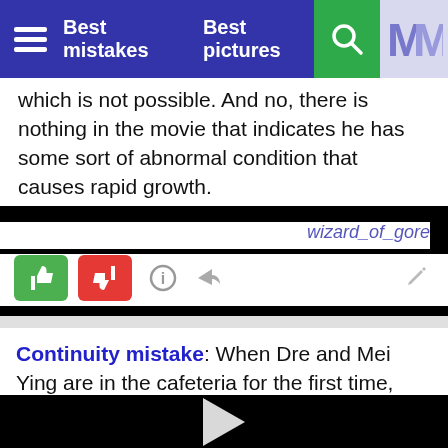Best mistakes   Best pictures
which is not possible. And no, there is nothing in the movie that indicates he has some sort of abnormal condition that causes rapid growth.
wizard_of_gore
Continuity mistake: When Dre and Mei Ying are in the cafeteria for the first time, Dre puts his chopsticks in the small slot on the side of his tray. The angle changes to a
[Figure (other): Video player with black background and white play button triangle in center]